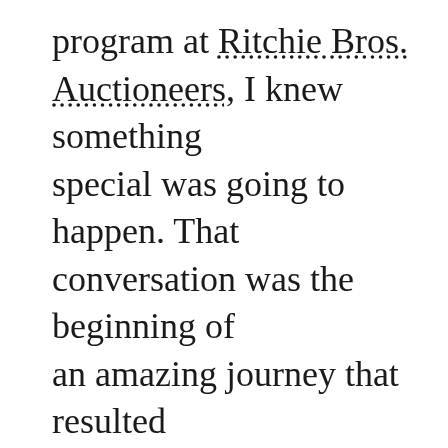program at Ritchie Bros. Auctioneers, I knew something special was going to happen. That conversation was the beginning of an amazing journey that resulted in the design, development and eventual operation of an exceptional early learning and child care program for RBA employees. The facility opened in 2009 and since then it has served as one of the best examples of high